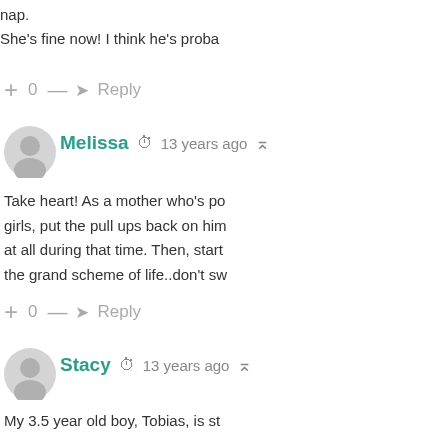nap.
She's fine now! I think he's proba...
+ 0 — ➜ Reply
[Figure (illustration): Default user avatar circle for Melissa]
Melissa  🕐 13 years ago  🔗
Take heart! As a mother who's po... girls, put the pull ups back on him... at all during that time. Then, start... the grand scheme of life..don't sw...
+ 0 — ➜ Reply
[Figure (illustration): Default user avatar circle for Stacy]
Stacy  🕐 13 years ago  🔗
My 3.5 year old boy, Tobias, is st...